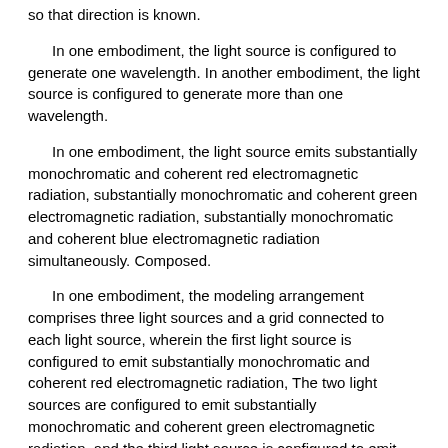so that direction is known.
In one embodiment, the light source is configured to generate one wavelength. In another embodiment, the light source is configured to generate more than one wavelength.
In one embodiment, the light source emits substantially monochromatic and coherent red electromagnetic radiation, substantially monochromatic and coherent green electromagnetic radiation, substantially monochromatic and coherent blue electromagnetic radiation simultaneously. Composed.
In one embodiment, the modeling arrangement comprises three light sources and a grid connected to each light source, wherein the first light source is configured to emit substantially monochromatic and coherent red electromagnetic radiation, The two light sources are configured to emit substantially monochromatic and coherent green electromagnetic radiation, and the third light source is configured to emit substantially monochromatic and coherent blue electromagnetic radiation.